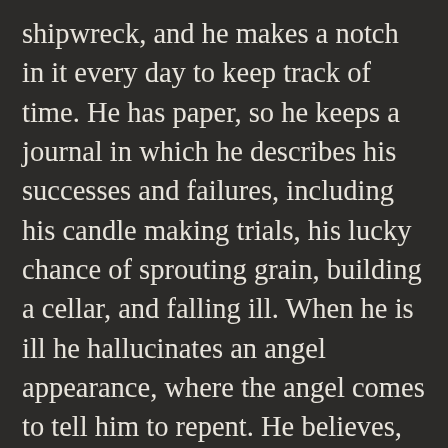shipwreck, and he makes a notch in it every day to keep track of time. He has paper, so he keeps a journal in which he describes his successes and failures, including his candle making trials, his lucky chance of sprouting grain, building a cellar, and falling ill. When he is ill he hallucinates an angel appearance, where the angel comes to tell him to repent. He believes, in a religious reawakening, that God has thus far delivered him from his sins. After recovery, he determines to make a full survey of the area, finding that he is, in fact, on an island, and that the space has grapes in abundance. He starts feeling like he is king of the island, and he trains a parrot, makes a goat his pet, and starts learning skills of pottery, basketry and bread making. He also builds a